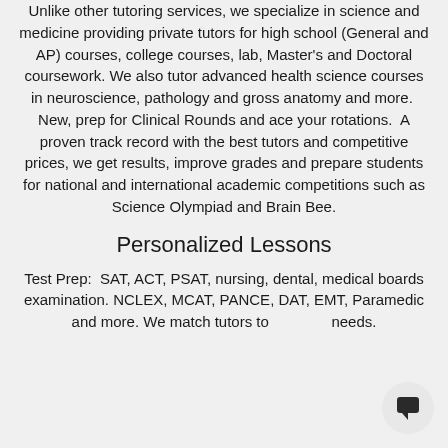Unlike other tutoring services, we specialize in science and medicine providing private tutors for high school (General and AP) courses, college courses, lab, Master's and Doctoral coursework. We also tutor advanced health science courses in neuroscience, pathology and gross anatomy and more.  New, prep for Clinical Rounds and ace your rotations.  A proven track record with the best tutors and competitive prices, we get results, improve grades and prepare students for national and international academic competitions such as Science Olympiad and Brain Bee.
Personalized Lessons
Test Prep:  SAT, ACT, PSAT, nursing, dental, medical boards examination. NCLEX, MCAT, PANCE, DAT, EMT, Paramedic and more. We match tutors to needs.